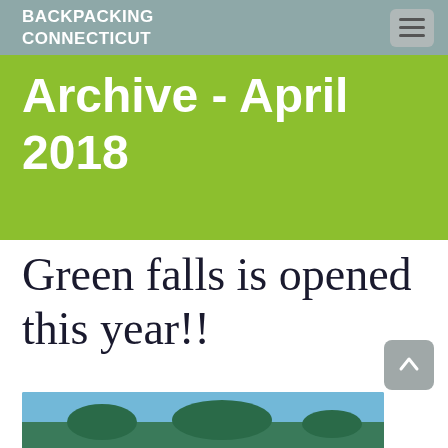BACKPACKING CONNECTICUT
Archive - April 2018
Green falls is opened this year!!
[Figure (photo): Partial view of a nature/landscape photo at the bottom of the page]